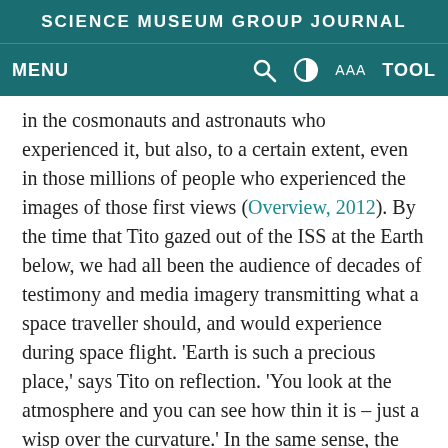SCIENCE MUSEUM GROUP JOURNAL
MENU  [search] [contrast] AAA TOOL
in the cosmonauts and astronauts who experienced it, but also, to a certain extent, even in those millions of people who experienced the images of those first views (Overview, 2012). By the time that Tito gazed out of the ISS at the Earth below, we had all been the audience of decades of testimony and media imagery transmitting what a space traveller should, and would experience during space flight. 'Earth is such a precious place,' says Tito on reflection. 'You look at the atmosphere and you can see how thin it is – just a wisp over the curvature.' In the same sense, the ISS now allows people to log in and view the Earth in real time through life feed cameras on board, while listening in to mission control.[17] The images broadcast are there to entertain and excite the viewer